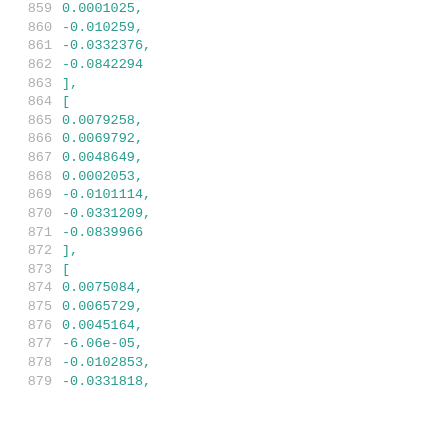859    0.0001025,
860    -0.010259,
861    -0.0332376,
862    -0.0842294
863    ],
864    [
865    0.0079258,
866    0.0069792,
867    0.0048649,
868    0.0002053,
869    -0.0101114,
870    -0.0331209,
871    -0.0839966
872    ],
873    [
874    0.0075084,
875    0.0065729,
876    0.0045164,
877    -6.06e-05,
878    -0.0102853,
879    -0.0331818,